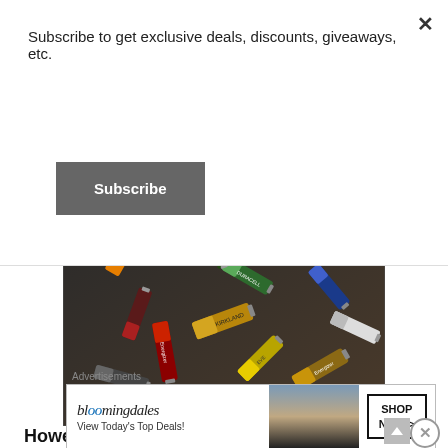Subscribe to get exclusive deals, discounts, giveaways, etc.
Subscribe
[Figure (photo): Pile of various AA and AAA batteries from brands including Energizer, Kirkland, Eveready, and others, scattered in a heap]
However there are a few that slip through the
Advertisements
[Figure (other): Bloomingdales advertisement banner: 'bloomingdales - View Today's Top Deals!' with SHOP NOW > button and woman in hat]